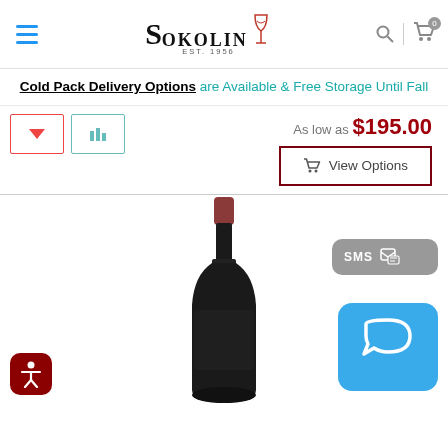[Figure (screenshot): Sokolin wine retailer website header with hamburger menu, Sokolin Est. 1936 logo with wine glass icon, search icon, and shopping cart icon with 0 badge]
Cold Pack Delivery Options are Available & Free Storage Until Fall
[Figure (screenshot): Two thumbnail image buttons for product, one with red border and arrow, one with teal border and bar chart icon]
As low as $195.00
View Options (cart button)
[Figure (photo): Dark red wine bottle on white background, tall Bordeaux-style bottle with copper/red foil capsule and dark label, shown in silhouette]
[Figure (screenshot): SMS chat widget button (grey) and blue chat bubble widget on the right side; accessibility icon button (red square rounded) at bottom left]